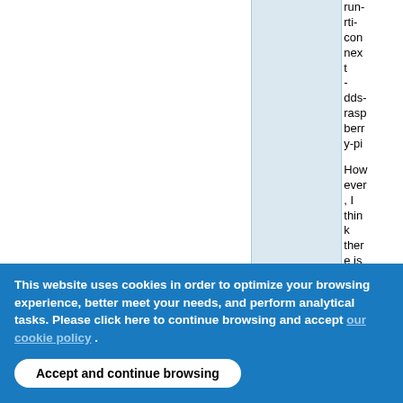|  |  | run-rti-connext-dds-raspberry-pi |
|  |  | However, I think there is a missing section whic |
This website uses cookies in order to optimize your browsing experience, better meet your needs, and perform analytical tasks. Please click here to continue browsing and accept our cookie policy .
Accept and continue browsing